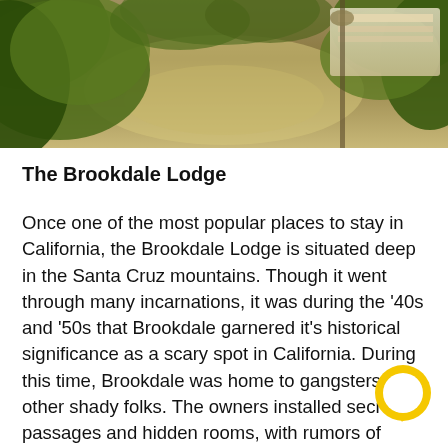[Figure (photo): Outdoor photo of the Brookdale Lodge area showing lush green foliage, trees, a path or brook, and a table setting visible on the right side.]
The Brookdale Lodge
Once one of the most popular places to stay in California, the Brookdale Lodge is situated deep in the Santa Cruz mountains. Though it went through many incarnations, it was during the '40s and '50s that Brookdale garnered it's historical significance as a scary spot in California. During this time, Brookdale was home to gangsters and other shady folks. The owners installed secret passages and hidden rooms, with rumors of bodies